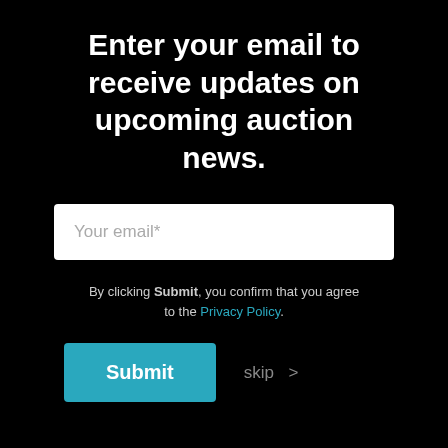Enter your email to receive updates on upcoming auction news.
Your email*
By clicking Submit, you confirm that you agree to the Privacy Policy.
Submit
skip >